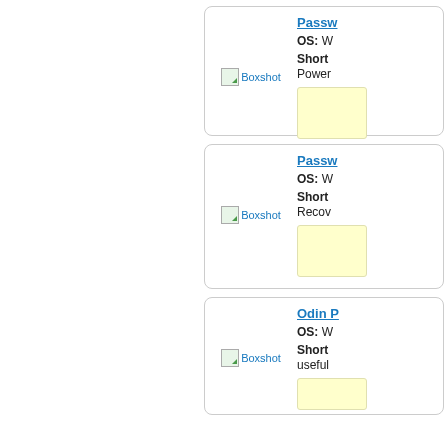Passw... — OS: W... Short: Power...
[Figure (screenshot): Boxshot image placeholder for first password product]
Passw... — OS: W... Short: Recov...
[Figure (screenshot): Boxshot image placeholder for second password product]
Odin P... — OS: W... Short: useful...
[Figure (screenshot): Boxshot image placeholder for Odin product]